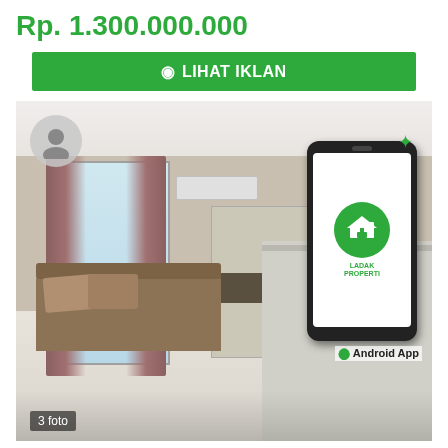Rp. 1.300.000.000
LIHAT IKLAN
[Figure (photo): Interior photo of a furnished apartment/studio unit showing a living area with sofa, curtains, window, kitchen counter, cabinetry, and AC unit. A smartphone displaying the 'Ladak Properti' Android app logo overlays the upper right corner. A user avatar circle is in the upper left. 'Android App' text label appears on the phone. '3 foto' badge is in the lower left of the photo.]